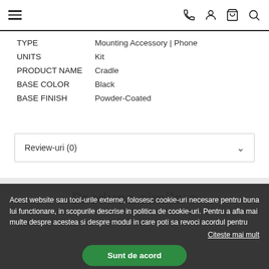Navigation bar with hamburger menu and icons (phone, user, bag, search)
| TYPE | Mounting Accessory | Phone |
| UNITS | Kit |
| PRODUCT NAME | Cradle |
| BASE COLOR | Black |
| BASE FINISH | Powder-Coated |
Review-uri (0)
Produse similare
Acest website sau tool-urile externe, folosesc cookie-uri necesare pentru buna lui functionare, in scopurile descrise in politica de cookie-uri. Pentru a afla mai multe despre acestea si despre modul in care poti sa revoci acordul pentru
Citeste mai mult
Sunt de acord